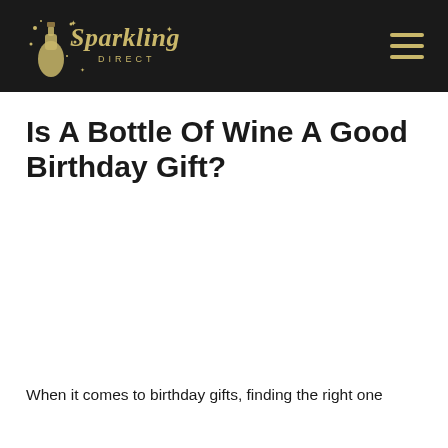Sparkling Direct
Is A Bottle Of Wine A Good Birthday Gift?
When it comes to birthday gifts, finding the right one